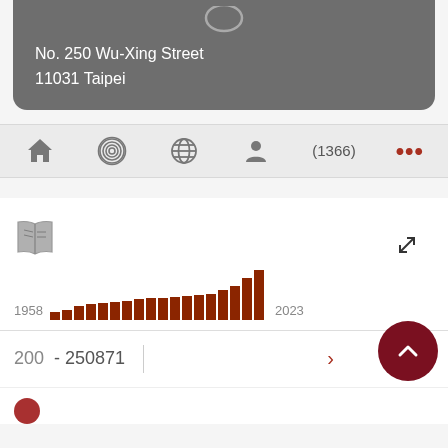No. 250 Wu-Xing Street
11031 Taipei
[Figure (screenshot): Navigation bar with icons: home, fingerprint/spiral, globe, person, (1366) badge, and three red dots menu]
[Figure (bar-chart): Bar chart showing publication counts from 1958 to 2023, bars in dark red/brown color, generally increasing trend]
200  - 250871
[Figure (other): Scroll-to-top circular dark red button with upward chevron arrow]